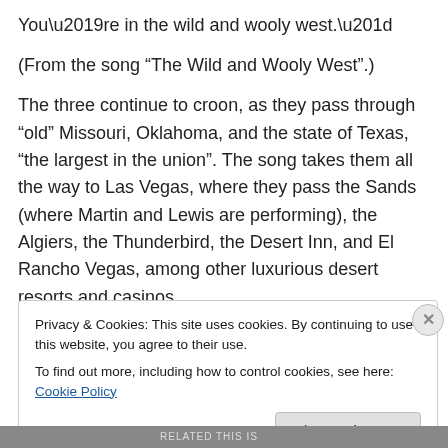You’re in the wild and wooly west.”
(From the song “The Wild and Wooly West”.)
The three continue to croon, as they pass through “old” Missouri, Oklahoma, and the state of Texas, “the largest in the union”. The song takes them all the way to Las Vegas, where they pass the Sands (where Martin and Lewis are performing), the Algiers, the Thunderbird, the Desert Inn, and El Rancho Vegas, among other luxurious desert resorts and casinos.
Privacy & Cookies: This site uses cookies. By continuing to use this website, you agree to their use.
To find out more, including how to control cookies, see here: Cookie Policy